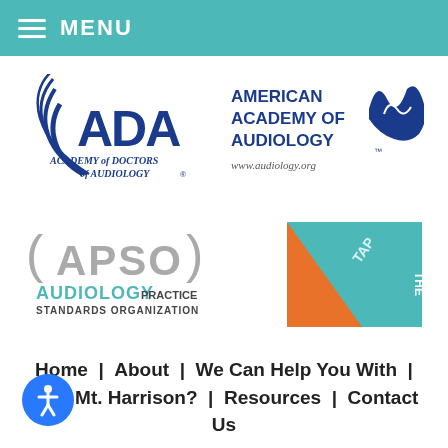MENU
[Figure (logo): Academy of Doctors of Audiology (ADA) logo — circular arc lines with ADA letters in dark blue, text below reads ACADEMY of DOCTORS of AUDIOLOGY]
[Figure (logo): American Academy of Audiology logo — dark blue text AMERICAN ACADEMY OF AUDIOLOGY with waveform graphic, url: www.audiology.org]
[Figure (logo): APSO — Audiology Practice Standards Organization logo, parenthesis-style letters in gray, AUDIOLOGY in teal, PRACTICE STANDARDS ORGANIZATION in dark text]
[Figure (logo): The Audiology Project (TAP) logo — triangle shape in orange and teal blue with TAP text and THE AUDIOLOGY PROJECT text in white]
Home | About | We Can Help You With | Why Mt. Harrison? | Resources | Contact Us
Site Map | Privacy Policy | Web